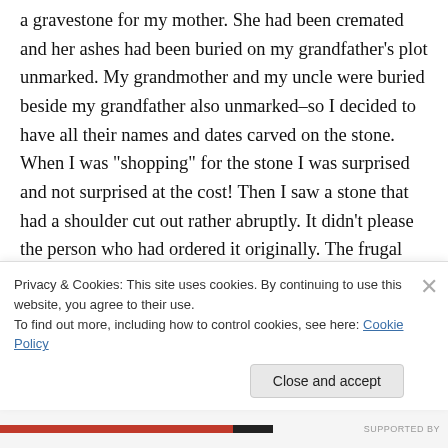a gravestone for my mother. She had been cremated and her ashes had been buried on my grandfather’s plot unmarked. My grandmother and my uncle were buried beside my grandfather also unmarked–so I decided to have all their names and dates carved on the stone. When I was “shopping” for the stone I was surprised and not surprised at the cost! Then I saw a stone that had a shoulder cut out rather abruptly. It didn’t please the person who had ordered it originally. The frugal and creative side of me decided that
Privacy & Cookies: This site uses cookies. By continuing to use this website, you agree to their use.
To find out more, including how to control cookies, see here: Cookie Policy